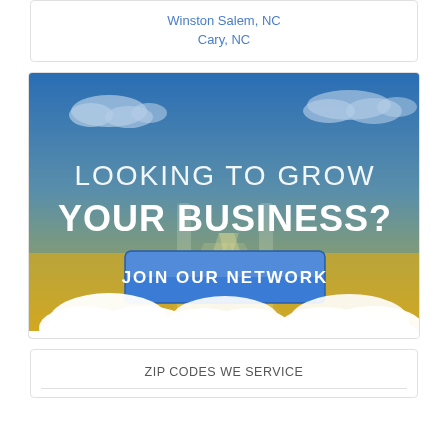Winston Salem, NC
Cary, NC
[Figure (illustration): Promotional banner with sky and clouds background. Text reads 'LOOKING TO GROW YOUR BUSINESS?' with a blue 'JOIN OUR NETWORK' button. Gradient from blue sky at top to golden yellow at bottom with white clouds.]
ZIP CODES WE SERVICE